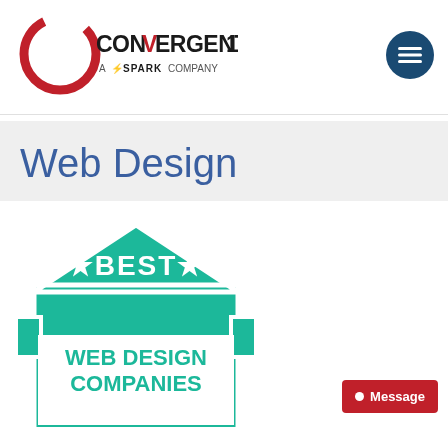[Figure (logo): Convergent1 logo — a red circle arc with the text CONVERGENT1 and 'A SPARK COMPANY' below]
[Figure (other): Dark blue circular hamburger menu icon with three white horizontal lines]
Web Design
[Figure (infographic): Green badge/shield infographic reading: BEST WEB DESIGN COMPANIES Houston]
Message